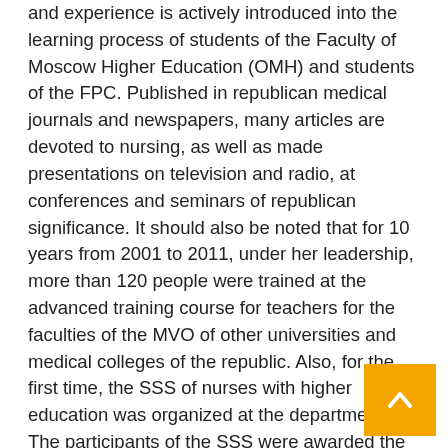and experience is actively introduced into the learning process of students of the Faculty of Moscow Higher Education (OMH) and students of the FPC. Published in republican medical journals and newspapers, many articles are devoted to nursing, as well as made presentations on television and radio, at conferences and seminars of republican significance. It should also be noted that for 10 years from 2001 to 2011, under her leadership, more than 120 people were trained at the advanced training course for teachers for the faculties of the MVO of other universities and medical colleges of the republic. Also, for the first time, the SSS of nurses with higher education was organized at the department. The participants of the SSS were awarded the Grand Prix of the SSS Institute. Four members of SSS subsequently defended dissertations Ph.D. on nursing, among them the main honey. sisters of the Ministry of Health, a military hospital and teachers TMA.